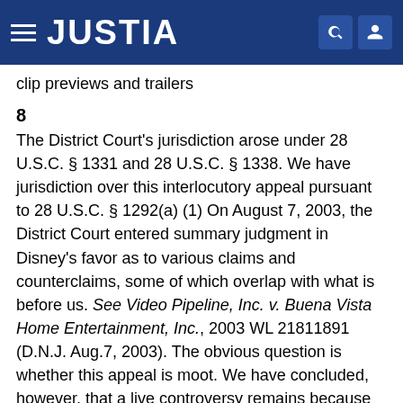JUSTIA
clip previews and trailers
The District Court's jurisdiction arose under 28 U.S.C. § 1331 and 28 U.S.C. § 1338. We have jurisdiction over this interlocutory appeal pursuant to 28 U.S.C. § 1292(a) (1) On August 7, 2003, the District Court entered summary judgment in Disney's favor as to various claims and counterclaims, some of which overlap with what is before us. See Video Pipeline, Inc. v. Buena Vista Home Entertainment, Inc., 2003 WL 21811891 (D.N.J. Aug.7, 2003). The obvious question is whether this appeal is moot. We have concluded, however, that a live controversy remains because the District Court has not entered a final judgment or a permanent injunction in place of the preliminary one and has not otherwise revoked or altered the injunction on appeal. See generally Gruno